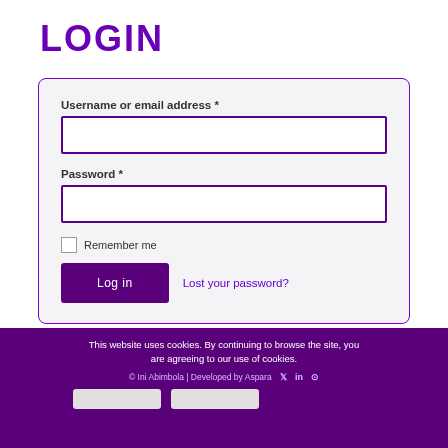LOGIN
Username or email address *
Password *
Remember me
Log in
Lost your password?
This website uses cookies. By continuing to browse the site, you are agreeing to our use of cookies.
© Ini Abimbola | Developed by Aspara
[Figure (screenshot): Login form with username/email field, password field, remember me checkbox, log in button, and lost your password link]